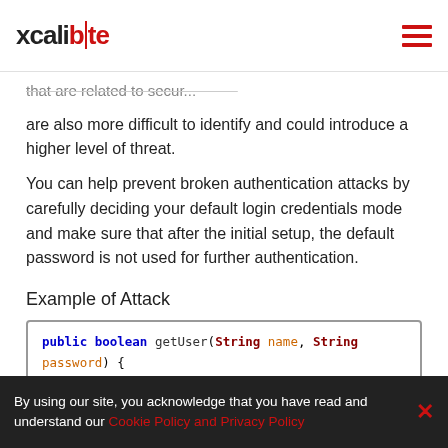xcalibyte
that are related to secur... [partially obscured] are also more difficult to identify and could introduce a higher level of threat.
You can help prevent broken authentication attacks by carefully deciding your default login credentials mode and make sure that after the initial setup, the default password is not used for further authentication.
Example of Attack
[Figure (screenshot): Code snippet showing: public boolean getUser(String name, String password) { SysUser user = system.getUserByName(name); if (MD5Hash(password).equals(user.getPassword())) {]
By using our site, you acknowledge that you have read and understand our Cookie Policy and Privacy Policy